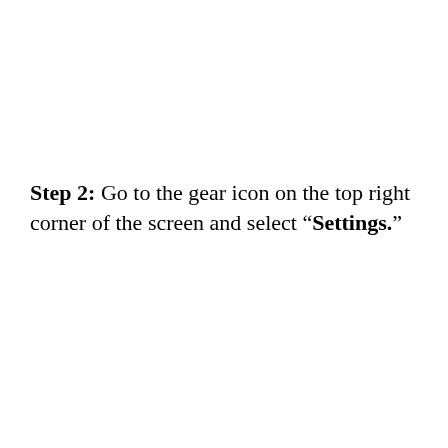Step 2: Go to the gear icon on the top right corner of the screen and select “Settings.”